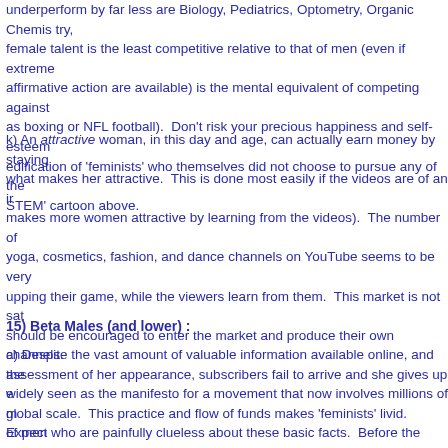underperform by far less are Biology, Pediatrics, Optometry, Organic Chemistry. female talent is the least competitive relative to that of men (even if extreme affirmative action are available) is the mental equivalent of competing against as boxing or NFL football). Don't risk your precious happiness and self-esteem edification of 'feminists' who themselves did not choose to pursue any of the STEM' cartoon above.
k) An attractive woman, in this day and age, can actually earn money by staying what makes her attractive. This is done most easily if the videos are of an in makes more women attractive by learning from the videos). The number of yoga, cosmetics, fashion, and dance channels on YouTube seems to be very upping their game, while the viewers learn from them. This market is not saturated should be encouraged to enter the market and produce their own channels. assessment of her appearance, subscribers fail to arrive and she gives up, global scale. This practice and flow of funds makes 'feminists' livid. Expect shutting down these income streams for attractive, self-made female entrepreneurs the world, and expect there to be a backlash. YouTube/Instagram could be team up against 'feminists'.
15) Beta Males (and lower) :
a) Despite the vast amount of valuable information available online, and the widely seen as the manifesto for a movement that now involves millions of men of men who are painfully clueless about these basic facts. Before the Internet excusable, but now, the solution to most problems a man faces is available onwards gets into trouble by way of entering into a situation he could have available online (such as getting married in an Anglosphere Western country limited. Men getting in trouble today from situations they entered into 20 years gradient of sympathy and level of self-learning expect of the man adjust prop
b) For this reason, any moderately attractive unmarried woman can set up s